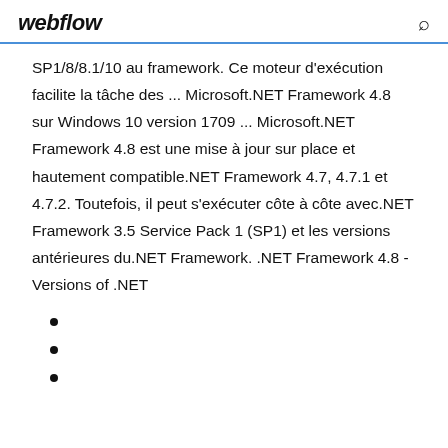webflow
SP1/8/8.1/10 au framework. Ce moteur d'exécution facilite la tâche des ... Microsoft.NET Framework 4.8 sur Windows 10 version 1709 ... Microsoft.NET Framework 4.8 est une mise à jour sur place et hautement compatible.NET Framework 4.7, 4.7.1 et 4.7.2. Toutefois, il peut s'exécuter côte à côte avec.NET Framework 3.5 Service Pack 1 (SP1) et les versions antérieures du.NET Framework. .NET Framework 4.8 - Versions of .NET